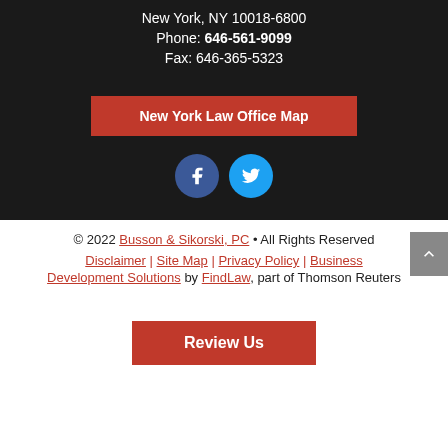New York, NY 10018-6800
Phone: 646-561-9099
Fax: 646-365-5323
New York Law Office Map
[Figure (illustration): Facebook and Twitter social media icons (circular buttons)]
© 2022 Busson & Sikorski, PC • All Rights Reserved
Disclaimer | Site Map | Privacy Policy | Business Development Solutions by FindLaw, part of Thomson Reuters
Review Us